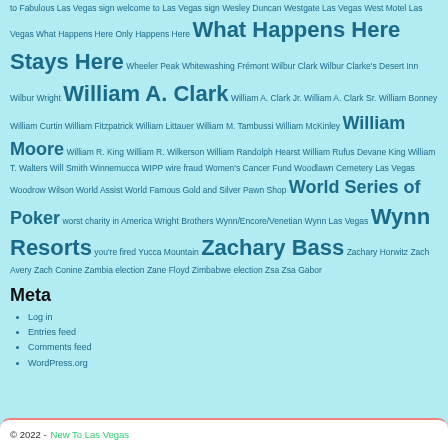to Fabulous Las Vegas sign welcome to Las Vegas sign Wesley Duncan Westgate Las Vegas West Motel Las Vegas What Happens Here Only Happens Here What Happens Here Stays Here Wheeler Peak Whitewashing Frémont Wilbur Clark Wilbur Clarke's Desert Inn Wilbur Wright William A. Clark William A. Clark Jr. William A. Clark Sr. William Bonney William Curtin William Fitzpatrick William Littauer William M. Tambussi William McKinley William Moore William R. King William R. Wilkerson William Randolph Hearst William Rufus Devane King William T. Walters Will Smith Winnemucca WIPP wire fraud Women's Cancer Fund Woodlawn Cemetery Las Vegas Woodrow Wilson World Assist World Famous Gold and Silver Pawn Shop World Series of Poker worst charity in America Wright Brothers Wynn/Encore/Venetian Wynn Las Vegas Wynn Resorts you're fired Yucca Mountain Zachary Bass Zachary Horwitz Zach Avery Zach Conine Zambia election Zane Floyd Zimbabwe election Zsa Zsa Gabor
Meta
Log in
Entries feed
Comments feed
WordPress.org
© 2022 - New To Las Vegas